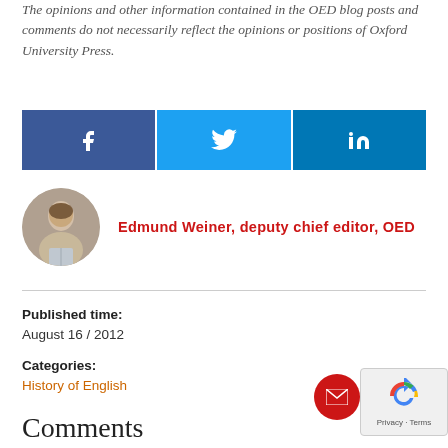The opinions and other information contained in the OED blog posts and comments do not necessarily reflect the opinions or positions of Oxford University Press.
[Figure (infographic): Social media sharing bar with Facebook (blue), Twitter (light blue), and LinkedIn (dark teal) icons]
Edmund Weiner, deputy chief editor, OED
Published time: August 16 / 2012
Categories: History of English
Comments